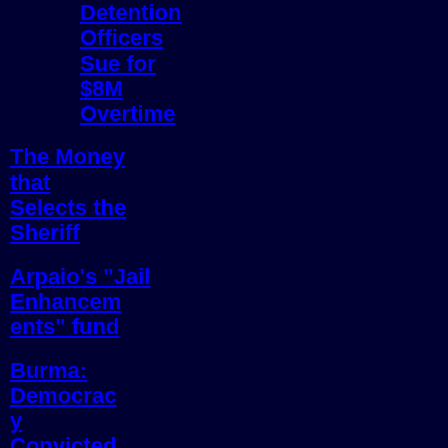Detention Officers Sue for $8M Overtime
The Money that Selects the Sheriff
Arpaio's "Jail Enhancements" fund
Burma: Democracy Convicted 18 Months for Suu Kyi
Humanitaria...